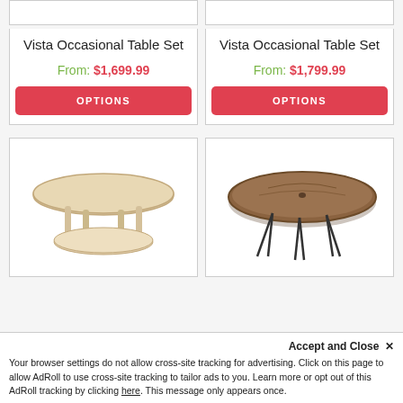[Figure (photo): Top portion of Vista Occasional Table Set product image (left), cut off at top]
[Figure (photo): Top portion of Vista Occasional Table Set product image (right), cut off at top]
Vista Occasional Table Set
Vista Occasional Table Set
From: $1,699.99
From: $1,799.99
OPTIONS
OPTIONS
[Figure (photo): Round light wood coffee table with shelf underneath]
[Figure (photo): Round slab wood coffee table on hairpin metal legs]
Accept and Close ✕
Your browser settings do not allow cross-site tracking for advertising. Click on this page to allow AdRoll to use cross-site tracking to tailor ads to you. Learn more or opt out of this AdRoll tracking by clicking here. This message only appears once.